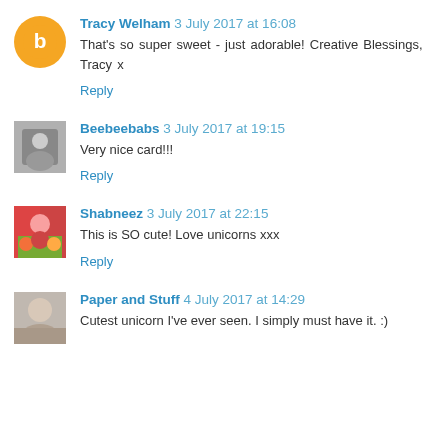Tracy Welham 3 July 2017 at 16:08
That's so super sweet - just adorable! Creative Blessings, Tracy x
Reply
Beebeebabs 3 July 2017 at 19:15
Very nice card!!!
Reply
Shabneez 3 July 2017 at 22:15
This is SO cute! Love unicorns xxx
Reply
Paper and Stuff 4 July 2017 at 14:29
Cutest unicorn I've ever seen. I simply must have it. :)